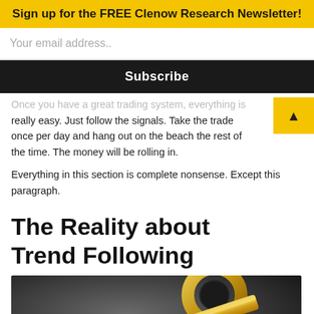Sign up for the FREE Clenow Research Newsletter!
Your email address..
Subscribe
Once you have a great trading system, everything is really easy. Just follow the signals. Take the trade once per day and hang out on the beach the rest of the time. The money will be rolling in.
Everything in this section is complete nonsense. Except this paragraph.
The Reality about Trend Following
[Figure (photo): Gold key lying on a dark grey surface, photographed at an angle showing the key's ring handle and shaft with decorative cuts.]